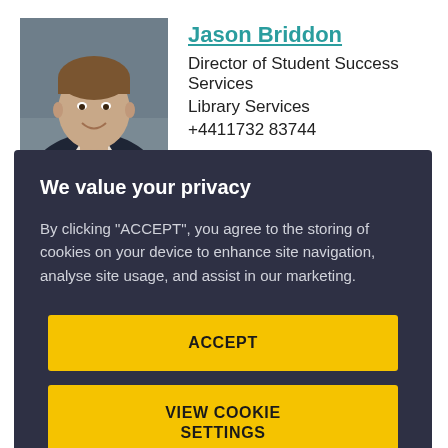[Figure (photo): Headshot photo of Jason Briddon, a man in a dark suit with a light shirt, smiling, against a blurred background]
Jason Briddon
Director of Student Success Services
Library Services
+4411732 83744
We value your privacy
By clicking “ACCEPT”, you agree to the storing of cookies on your device to enhance site navigation, analyse site usage, and assist in our marketing.
ACCEPT
VIEW COOKIE SETTINGS